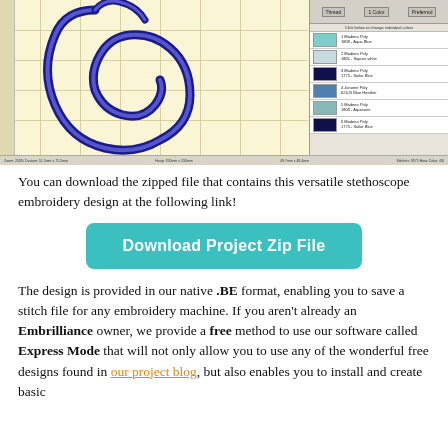[Figure (screenshot): Embroidery software screenshot showing a stethoscope design in navy/blue on a cream grid canvas, with a color palette sidebar on the right showing 6 color swatches (teal, light blue, dark navy, medium blue, light teal, dark navy) and a status bar at the bottom.]
You can download the zipped file that contains this versatile stethoscope embroidery design at the following link!
[Figure (other): Teal rounded rectangle button labeled 'Download Project Zip File' in bold white text.]
The design is provided in our native .BE format, enabling you to save a stitch file for any embroidery machine. If you aren't already an Embrilliance owner, we provide a free method to use our software called Express Mode that will not only allow you to use any of the wonderful free designs found in our project blog, but also enables you to install and create basic